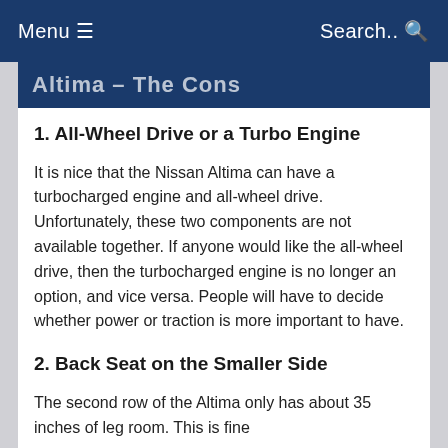Menu ☰    Search.. 🔍
Altima – The Cons
1. All-Wheel Drive or a Turbo Engine
It is nice that the Nissan Altima can have a turbocharged engine and all-wheel drive. Unfortunately, these two components are not available together. If anyone would like the all-wheel drive, then the turbocharged engine is no longer an option, and vice versa. People will have to decide whether power or traction is more important to have.
2. Back Seat on the Smaller Side
The second row of the Altima only has about 35 inches of leg room. This is fine